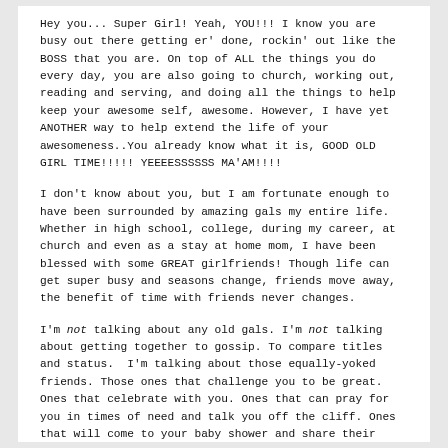Hey you... Super Girl! Yeah, YOU!!! I know you are busy out there getting er' done, rockin' out like the BOSS that you are. On top of ALL the things you do every day, you are also going to church, working out, reading and serving, and doing all the things to help keep your awesome self, awesome. However, I have yet ANOTHER way to help extend the life of your awesomeness..You already know what it is, GOOD OLD GIRL TIME!!!!! YEEEESSSSSS MA'AM!!!!
I don't know about you, but I am fortunate enough to have been surrounded by amazing gals my entire life. Whether in high school, college, during my career, at church and even as a stay at home mom, I have been blessed with some GREAT girlfriends! Though life can get super busy and seasons change, friends move away, the benefit of time with friends never changes.
I'm not talking about any old gals. I'm not talking about getting together to gossip. To compare titles and status.  I'm talking about those equally-yoked friends. Those ones that challenge you to be great. Ones that celebrate with you. Ones that can pray for you in times of need and talk you off the cliff. Ones that will come to your baby shower and share their parenting experiences for extra support. And YES, ones you can, eat, shop and enjoy life with.